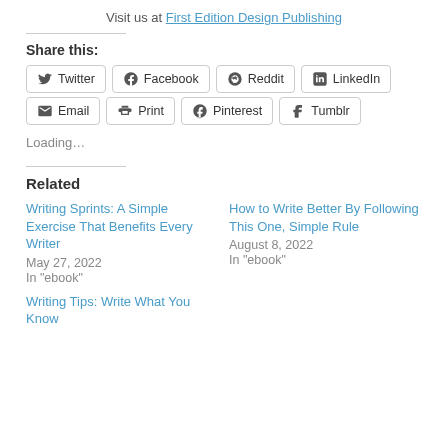Visit us at First Edition Design Publishing
Share this:
Twitter  Facebook  Reddit  LinkedIn  Email  Print  Pinterest  Tumblr
Loading…
Related
Writing Sprints: A Simple Exercise That Benefits Every Writer
May 27, 2022
In "ebook"
How to Write Better By Following This One, Simple Rule
August 8, 2022
In "ebook"
Writing Tips: Write What You Know